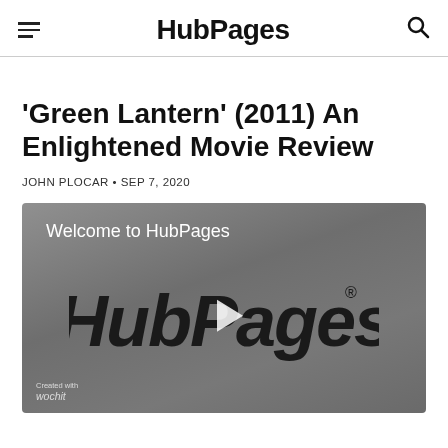HubPages
'Green Lantern' (2011) An Enlightened Movie Review
JOHN PLOCAR • SEP 7, 2020
[Figure (screenshot): Video player showing HubPages welcome video with HubPages logo and play button on grey background. Bottom left shows 'Created with wochit' credit.]